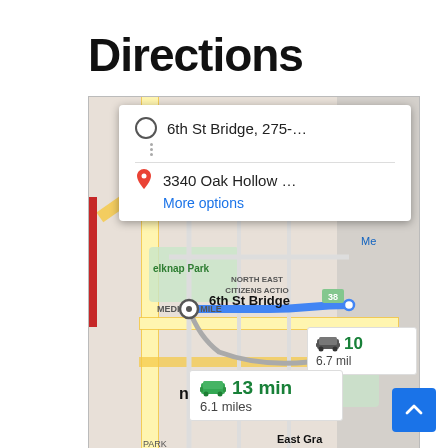Directions
[Figure (map): Google Maps screenshot showing directions from 6th St Bridge to 3340 Oak Hollow, Grand Rapids area. A blue route line runs eastward. Route info boxes show '13 min / 6.1 miles' and '10 min / 6.7 miles'. Map labels include Huff Park, elknap Park, NORTH EAST CITIZENS ACTION, MEDICAL MILE, nd Rapids, East Gra. A directions popup shows origin '6th St Bridge, 275-...' and destination '3340 Oak Hollow ...' with a 'More options' link.]